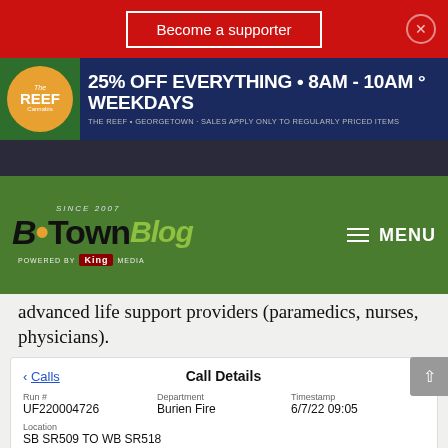Become a supporter
[Figure (illustration): The Reef Cannabis dispensary ad banner: 25% OFF EVERYTHING • 8AM - 10AM • WEEKDAYS. THE REEF • GEORGETOWN • SALES APPLY ONLY TO REGULARLY PRICED ITEMS]
[Figure (logo): The B-Town Blog logo - Since 2007, Powered by King Media, with MENU hamburger navigation]
advanced life support providers (paramedics, nurses, physicians).
| Run # | Department | Timestamp |
| --- | --- | --- |
| UF220004726 | Burien Fire | 6/7/22 09:05 |
| Location: SB SR509 TO WB SR518 |  |  |
| Address: SB SR509 TO WB SR518, BURIEN |  |  |
| Call Type: BLS Injury Accident |  |  |
| Dispatched Units: E319 (09:05), E318 (09:05), B328 (09:05), TRI (09:08) |  |  |